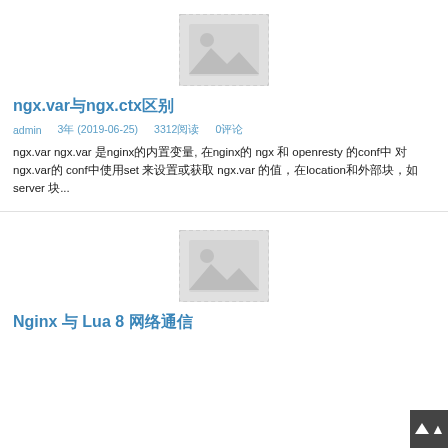[Figure (illustration): Placeholder image thumbnail with grey mountain/photo icon (first card)]
ngx.var与ngx.ctx区别
admin    3年 (2019-06-25)    3312阅读    0评论
ngx.var ngx.var 是nginx的内置变量, 在nginx的 ngx 和 openresty 的conf中 对 ngx.var的 conf中使用set 来设置或获取 ngx.var 的值，在location和外部块，如server 块...
[Figure (illustration): Placeholder image thumbnail with grey mountain/photo icon (second card)]
Nginx 与 Lua 8 网络通信